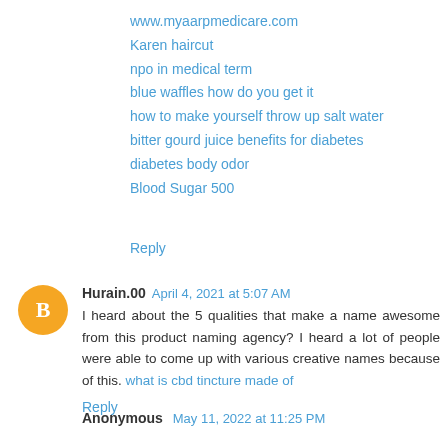www.myaarpmedicare.com
Karen haircut
npo in medical term
blue waffles how do you get it
how to make yourself throw up salt water
bitter gourd juice benefits for diabetes
diabetes body odor
Blood Sugar 500
Reply
Hurain.00  April 4, 2021 at 5:07 AM
I heard about the 5 qualities that make a name awesome from this product naming agency? I heard a lot of people were able to come up with various creative names because of this. what is cbd tincture made of
Reply
Anonymous  May 11, 2022 at 11:25 PM